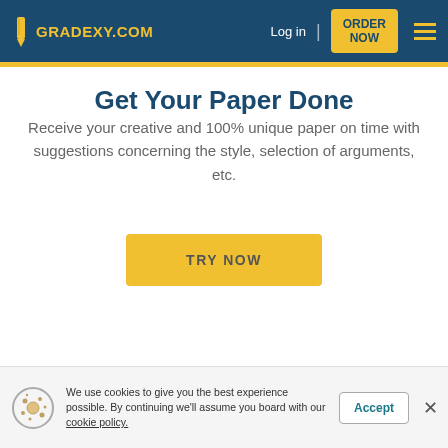GRADEXY.COM | Log in | ORDER NOW
Get Your Paper Done
Receive your creative and 100% unique paper on time with suggestions concerning the style, selection of arguments, etc.
TRY NOW
We use cookies to give you the best experience possible. By continuing we'll assume you board with our cookie policy.